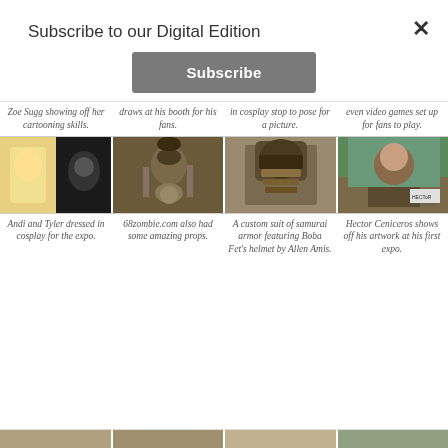Subscribe to our Digital Edition
Subscribe
Zoe Sugg showing off her cartooning skills.
draws at his booth for his fans.
in cosplay stop to pose for a picture.
even video games set up for fans to play.
[Figure (photo): Four photos showing cosplay and expo scenes: Andi and Tyler dressed in cosplay; 68zombie.com props; samurai armor with Boba Fett helmet; Hector Ceniceros at his booth]
Andi and Tyler dressed in cosplay for the expo.
68zombie.com also had some amazing props.
A custom suit of samurai armor featuring Boba Fet's helmet by Allen Amis.
Hector Ceniceros shows off his artwork at his first expo.